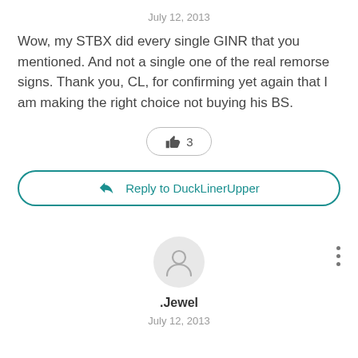July 12, 2013
Wow, my STBX did every single GINR that you mentioned. And not a single one of the real remorse signs. Thank you, CL, for confirming yet again that I am making the right choice not buying his BS.
👍 3
Reply to DuckLinerUpper
[Figure (illustration): Generic user avatar circle icon (person silhouette) on light gray background]
.Jewel
July 12, 2013